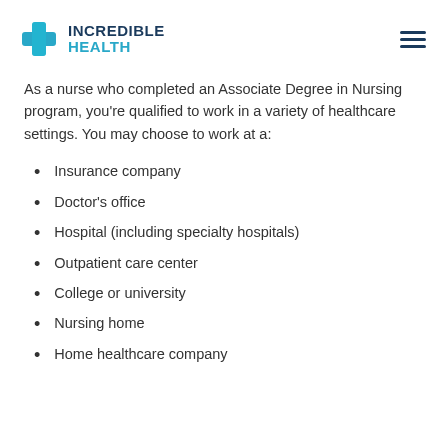INCREDIBLE HEALTH
As a nurse who completed an Associate Degree in Nursing program, you’re qualified to work in a variety of healthcare settings. You may choose to work at a:
Insurance company
Doctor’s office
Hospital (including specialty hospitals)
Outpatient care center
College or university
Nursing home
Home healthcare company